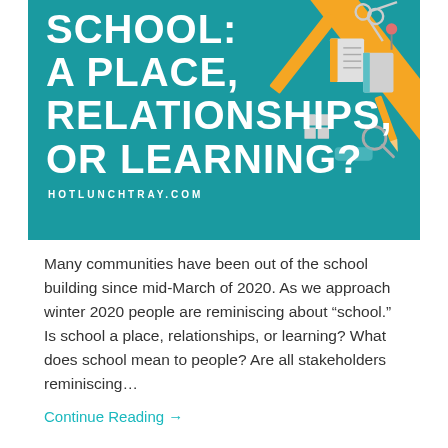[Figure (illustration): Teal/turquoise banner with large white bold text reading 'SCHOOL: A PLACE, RELATIONSHIPS, OR LEARNING?' with an orange diagonal stripe and school supply icons (rulers, scissors, notebooks, pencils, etc.) in the upper right. Website URL HOTLUNCHTRAY.COM at the bottom of the banner.]
Many communities have been out of the school building since mid-March of 2020. As we approach winter 2020 people are reminiscing about “school.” Is school a place, relationships, or learning? What does school mean to people? Are all stakeholders reminiscing…
Continue Reading →